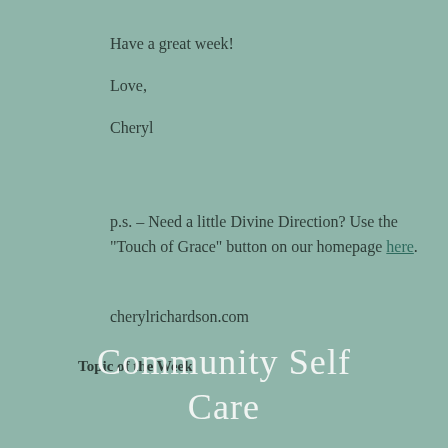Have a great week!
Love,
Cheryl
p.s. – Need a little Divine Direction? Use the “Touch of Grace” button on our homepage here.
cherylrichardson.com
Topic of the Week
Community Self Care